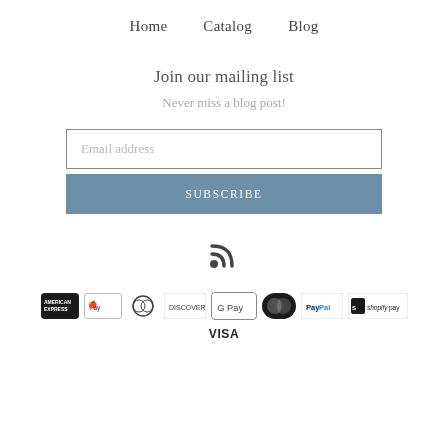Home   Catalog   Blog
Join our mailing list
Never miss a blog post!
Email address
SUBSCRIBE
[Figure (other): RSS feed icon]
[Figure (other): Payment icons: American Express, Apple Pay, Diners Club, Discover, Google Pay, MasterCard, PayPal, Shopify Pay, Visa]